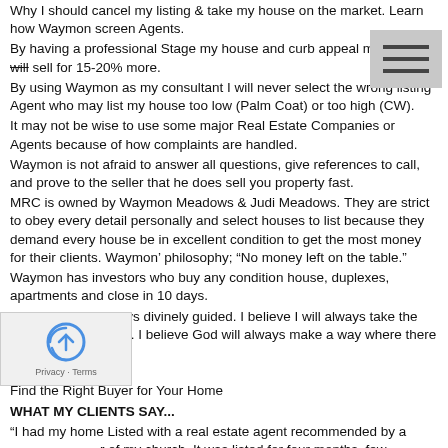Why I should cancel my listing & take my house on the market. Learn how Waymon screen Agents.
By having a professional Stage my house and curb appeal my house will sell for 15-20% more.
By using Waymon as my consultant I will never select the wrong listing Agent who may list my house too low (Palm Coat) or too high (CW).
It may not be wise to use some major Real Estate Companies or Agents because of how complaints are handled.
Waymon is not afraid to answer all questions, give references to call, and prove to the seller that he does sell you property fast.
MRC is owned by Waymon Meadows & Judi Meadows. They are strict to obey every detail personally and select houses to list because they demand every house be in excellent condition to get the most money for their clients. Waymon' philosophy; "No money left on the table."
Waymon has investors who buy any condition house, duplexes, apartments and close in 10 days.
“I believe I am always divinely guided. I believe I will always take the right turn in the road. I believe God will always make a way where there is no  way.”
Find the Right Buyer for Your Home
WHAT MY CLIENTS SAY...
"I had my home Listed with a real estate agent recommended by a [member] of my church. It was listed for four months, few showings, but [nobody] really interested in making an offer to buy my property. I canceled [the listing] and listed it with Waymon. He had a cash offer the next day. [We] closed in 10 days. I left the closing smiling, in amazement; wondering, "how did Waymon do it?" CW